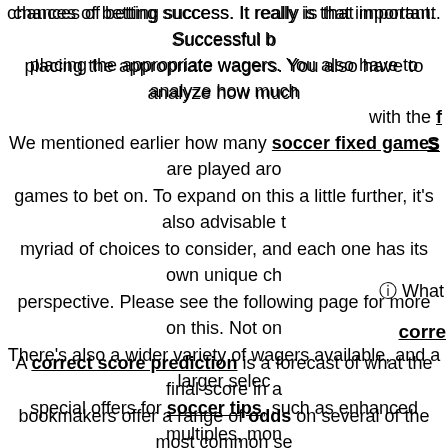chances of betting success. It really is that important. Successful b placing the appropriate wagers. You also have to analyze how much with the f S
We mentioned earlier how many soccer fixed games are played aro games to bet on. To expand on this a little further, it's also advisable t myriad of choices to consider, and each one has its own unique ch perspective. Please see the following page for more on this. Not on There's also a wider variety of wagers available, and a larger selec special offers for soccer tips, such as enhanced multiples, mon
ⓘ What
corre
A correct score prediction is a forecast of what the final score in a bookmakers offer a range of odds on several of the most common se and that you think that the final score after 90 minutes plus stoppage t score ends at 1-0 to Spurs, you win. A What is
Hence you will often see correct score doubles available on this page returns. The odds from the first bet are multiplied by the odds of the se tips are so difficult to call that it's a real long shot to land a corre
Another high odds strategy is hal
Ge